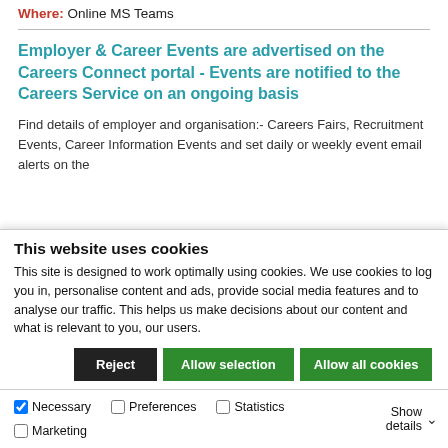Where: Online MS Teams
Employer & Career Events are advertised on the Careers Connect portal - Events are notified to the Careers Service on an ongoing basis
Find details of employer and organisation:- Careers Fairs, Recruitment Events, Career Information Events and set daily or weekly event email alerts on the
This website uses cookies
This site is designed to work optimally using cookies. We use cookies to log you in, personalise content and ads, provide social media features and to analyse our traffic. This helps us make decisions about our content and what is relevant to you, our users.